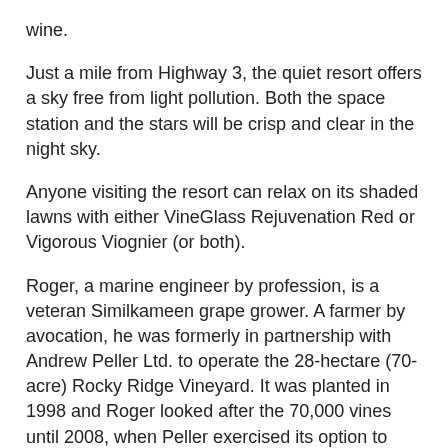wine.
Just a mile from Highway 3, the quiet resort offers a sky free from light pollution. Both the space station and the stars will be crisp and clear in the night sky.
Anyone visiting the resort can relax on its shaded lawns with either VineGlass Rejuvenation Red or Vigorous Viognier (or both).
Roger, a marine engineer by profession, is a veteran Similkameen grape grower. A farmer by avocation, he was formerly in partnership with Andrew Peller Ltd. to operate the 28-hectare (70-acre) Rocky Ridge Vineyard. It was planted in 1998 and Roger looked after the 70,000 vines until 2008, when Peller exercised its option to acquire his interest.
His current farm, which he purchased on the heels of the Peller transaction, is an almost spiritually quiet property.  The resort is meant for those seeking renewal in the peaceful ambiance.